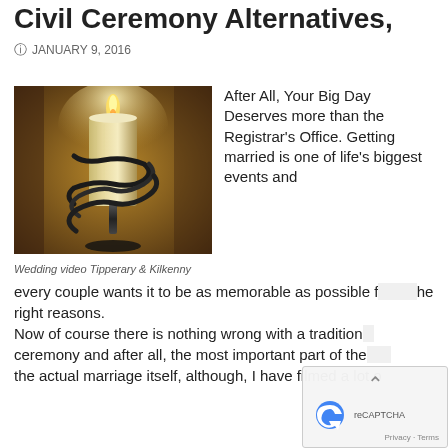Civil Ceremony Alternatives,
JANUARY 9, 2016
[Figure (photo): A lit pillar candle held in a decorative black metal spiral candle holder, warm bokeh background]
Wedding video Tipperary & Kilkenny
After All, Your Big Day Deserves more than the Registrar's Office. Getting married is one of life's biggest events and every couple wants it to be as memorable as possible for the right reasons.
Now of course there is nothing wrong with a traditional ceremony and after all, the most important part of the day is the actual marriage itself, although, I have filmed a lot of civi...